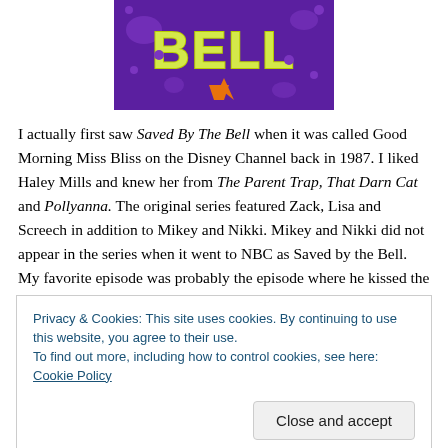[Figure (photo): Top portion of a 'Saved By The Bell' logo on a purple background with yellow letters and orange accents]
I actually first saw Saved By The Bell when it was called Good Morning Miss Bliss on the Disney Channel back in 1987. I liked Haley Mills and knew her from The Parent Trap, That Darn Cat and Pollyanna. The original series featured Zack, Lisa and Screech in addition to Mikey and Nikki. Mikey and Nikki did not appear in the series when it went to NBC as Saved by the Bell. My favorite episode was probably the episode where he kissed the rock star
Privacy & Cookies: This site uses cookies. By continuing to use this website, you agree to their use.
To find out more, including how to control cookies, see here: Cookie Policy
added Jessie Spano and AC Slater. I think this was a good